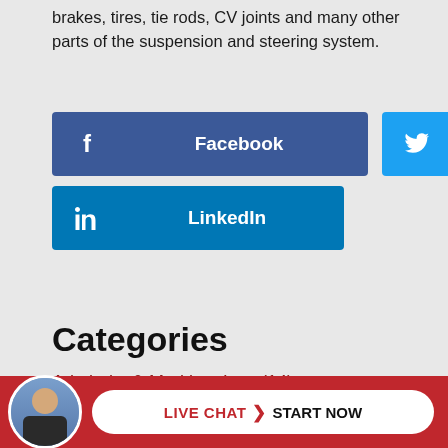brakes, tires, tie rods, CV joints and many other parts of the suspension and steering system.
[Figure (infographic): Social share buttons: Facebook (dark blue), Twitter (light blue), LinkedIn (medium blue)]
Categories
Admiralty & Maritime Law (14)
Car Accidents (58)
Commercial Vehicle Accidents (17)
Injuries
[Figure (infographic): Bottom red bar with attorney avatar photo and Live Chat / Start Now button]